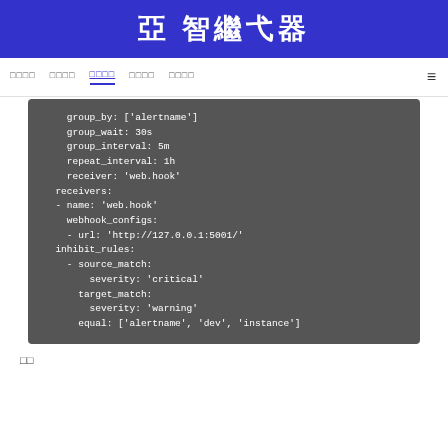亞 智繼弋器
□□□□  □□□□  □□□□  □□□□  □□□□
[Figure (screenshot): Code block showing YAML alertmanager configuration with group_by, group_wait, group_interval, repeat_interval, receiver, receivers, webhook_configs, inhibit_rules settings]
□□